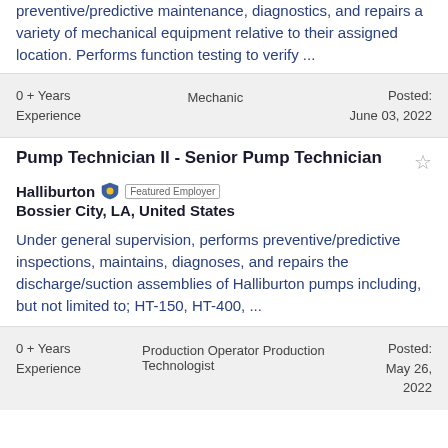preventive/predictive maintenance, diagnostics, and repairs a variety of mechanical equipment relative to their assigned location. Performs function testing to verify ...
0 + Years Experience    Mechanic    Posted: June 03, 2022
Pump Technician II - Senior Pump Technician
Halliburton  Featured Employer
Bossier City, LA, United States
Under general supervision, performs preventive/predictive inspections, maintains, diagnoses, and repairs the discharge/suction assemblies of Halliburton pumps including, but not limited to; HT-150, HT-400, ...
0 + Years Experience    Production Operator Production Technologist    Posted: May 26, 2022